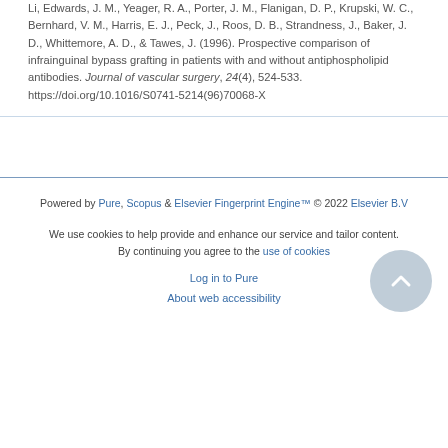Li, Edwards, J. M., Yeager, R. A., Porter, J. M., Flanigan, D. P., Krupski, W. C., Bernhard, V. M., Harris, E. J., Peck, J., Roos, D. B., Strandness, J., Baker, J. D., Whittemore, A. D., & Tawes, J. (1996). Prospective comparison of infrainguinal bypass grafting in patients with and without antiphospholipid antibodies. Journal of vascular surgery, 24(4), 524-533. https://doi.org/10.1016/S0741-5214(96)70068-X
Powered by Pure, Scopus & Elsevier Fingerprint Engine™ © 2022 Elsevier B.V
We use cookies to help provide and enhance our service and tailor content. By continuing you agree to the use of cookies
Log in to Pure
About web accessibility